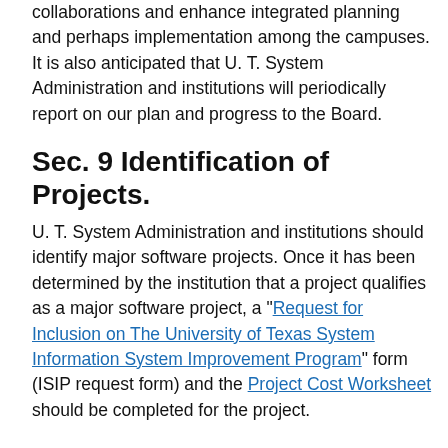collaborations and enhance integrated planning and perhaps implementation among the campuses. It is also anticipated that U. T. System Administration and institutions will periodically report on our plan and progress to the Board.
Sec. 9 Identification of Projects.
U. T. System Administration and institutions should identify major software projects. Once it has been determined by the institution that a project qualifies as a major software project, a "Request for Inclusion on The University of Texas System Information System Improvement Program" form (ISIP request form) and the Project Cost Worksheet should be completed for the project.
Sec. 10 Document Submissions.
The ISIP request form and the Project Cost Worksheet should be submitted to the U. T. System CIO for review and recommendations before contracts are negotiated or